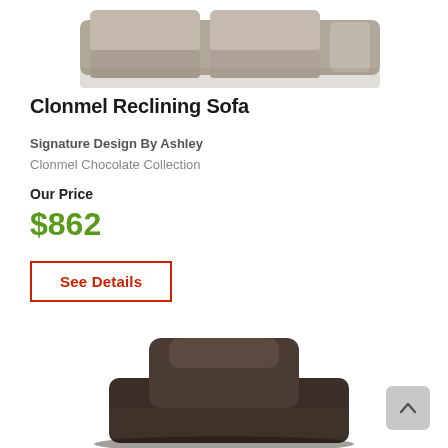[Figure (photo): Partial top view of a reclining sofa in chocolate/taupe fabric, cropped at top]
Clonmel Reclining Sofa
Signature Design By Ashley
Clonmel Chocolate Collection
Our Price
$862
See Details
[Figure (photo): Partial bottom view of a dark chocolate recliner chair, cropped at bottom of page]